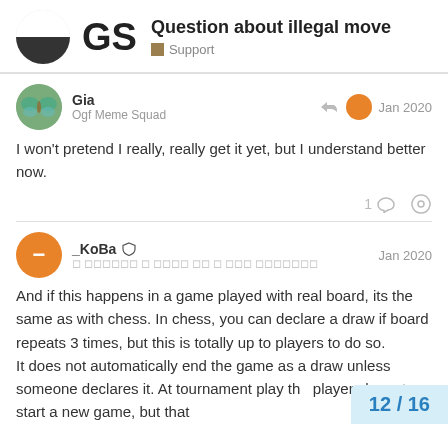Question about illegal move — Support
I won't pretend I really, really get it yet, but I understand better now.
And if this happens in a game played with real board, its the same as with chess. In chess, you can declare a draw if board repeats 3 times, but this is totally up to players to do so. It does not automatically end the game as a draw unless someone declares it. At tournament play th players have to start a new game, but that
12 / 16